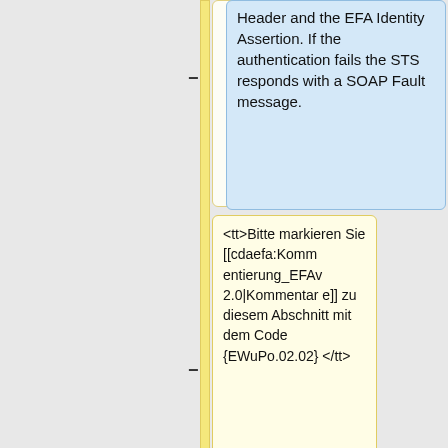Header and the EFA Identity Assertion. If the authentication fails the STS responds with a SOAP Fault message.
<tt>Bitte markieren Sie [[cdaefa:Kommentierung_EFAv2.0|Kommentar e]] zu diesem Abschnitt mit dem Code {EWuPo.02.02} </tt>
...
{{WorkBox|Building the